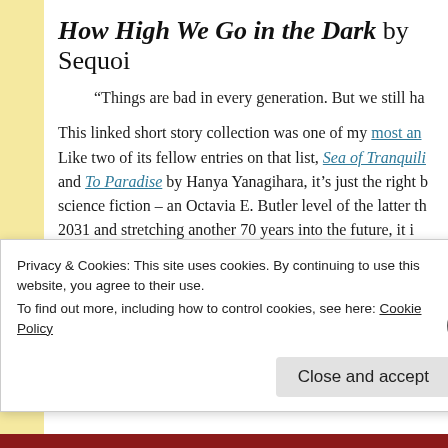How High We Go in the Dark by Sequoi...
“Things are bad in every generation. But we still ha...
This linked short story collection was one of my most an... Like two of its fellow entries on that list, Sea of Tranquili... and To Paradise by Hanya Yanagihara, it’s just the right b... science fiction – an Octavia E. Butler level of the latter th... 2031 and stretching another 70 years into the future, it i... reshapes the world and how communication and connec... death. In the first story, Cliff is on the ground at the start...
Privacy & Cookies: This site uses cookies. By continuing to use this website, you agree to their use.
To find out more, including how to control cookies, see here: Cookie Policy